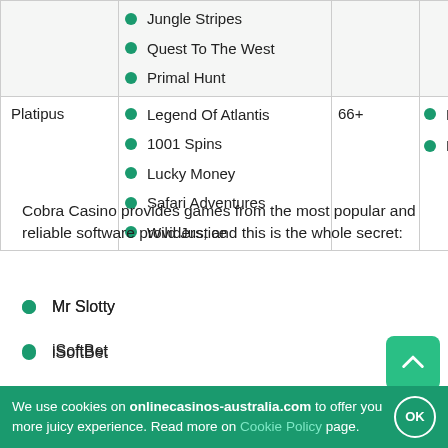| Provider | Games | Count | Also |
| --- | --- | --- | --- |
|  | Jungle Stripes
Quest To The West
Primal Hunt |  |  |
| Platipus | Legend Of Atlantis
1001 Spins
Lucky Money
Safari Adventures
Wild Justice | 66+ | Dragon'
Bamboo |
Cobra Casino provides games from the most popular and reliable software providers, and this is the whole secret:
Mr Slotty
iSoftBet
Belatra
Booming Games
We use cookies on onlinecasinos-australia.com to offer you more juicy experience. Read more on Cookie Policy page.